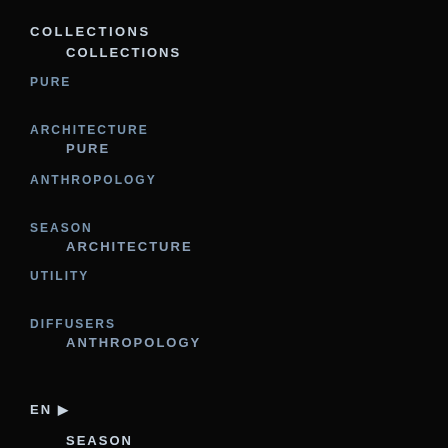COLLECTIONS
PURE
ARCHITECTURE
ANTHROPOLOGY
SEASON
UTILITY
DIFFUSERS
EN 🌐